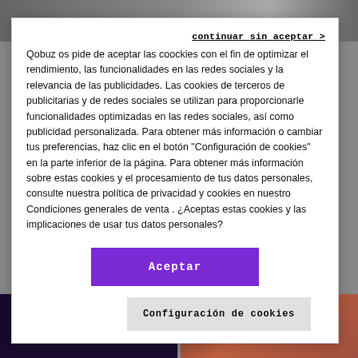[Figure (screenshot): Background showing blurred images of people at top and album art at bottom, with a white modal dialog overlay for cookie consent]
continuar sin aceptar >
Qobuz os pide de aceptar las coockies con el fin de optimizar el rendimiento, las funcionalidades en las redes sociales y la relevancia de las publicidades. Las cookies de terceros de publicitarias y de redes sociales se utilizan para proporcionarle funcionalidades optimizadas en las redes sociales, así como publicidad personalizada. Para obtener más información o cambiar tus preferencias, haz clic en el botón "Configuración de cookies" en la parte inferior de la página. Para obtener más información sobre estas cookies y el procesamiento de tus datos personales, consulte nuestra política de privacidad y cookies en nuestro Condiciones generales de venta . ¿Aceptas estas cookies y las implicaciones de usar tus datos personales?
Aceptar
Configuración de cookies